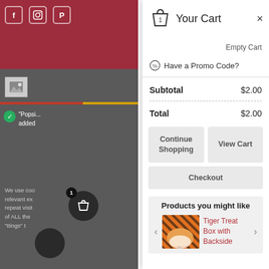[Figure (screenshot): Left sidebar showing website background with crimson top bar, social media icons (f, camera, P), small thumbnail image, red/yellow stripe, green checkmark notification with 'Popsi... added' text, cookie consent text, and floating basket button with count 1]
Your Cart
Empty Cart
Have a Promo Code?
| Subtotal | $2.00 |
| Total | $2.00 |
Continue Shopping
View Cart
Checkout
Products you might like
Tiger Treat Box with Backside